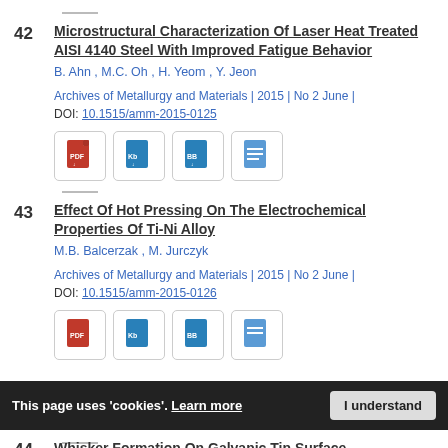42 Microstructural Characterization Of Laser Heat Treated AISI 4140 Steel With Improved Fatigue Behavior
B. Ahn , M.C. Oh , H. Yeom , Y. Jeon
Archives of Metallurgy and Materials | 2015 | No 2 June |
DOI: 10.1515/amm-2015-0125
43 Effect Of Hot Pressing On The Electrochemical Properties Of Ti-Ni Alloy
M.B. Balcerzak , M. Jurczyk
Archives of Metallurgy and Materials | 2015 | No 2 June |
DOI: 10.1515/amm-2015-0126
44 Whisker Formation On Galvanic Tin Surface